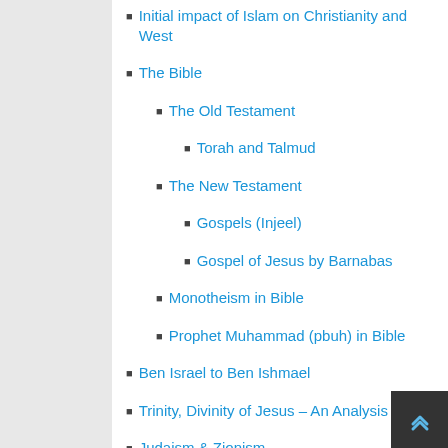Initial impact of Islam on Christianity and West
The Bible
The Old Testament
Torah and Talmud
The New Testament
Gospels (Injeel)
Gospel of Jesus by Barnabas
Monotheism in Bible
Prophet Muhammad (pbuh) in Bible
Ben Israel to Ben Ishmael
Trinity, Divinity of Jesus – An Analysis
Judaism & Zionism
Non-Fiction: During America